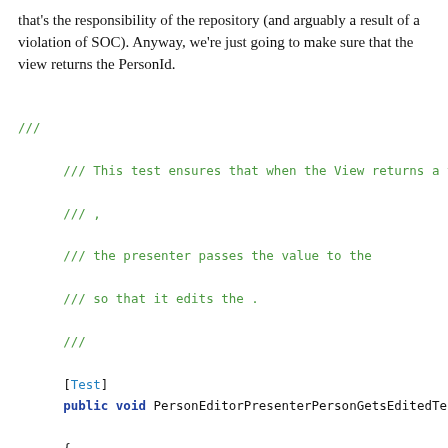that's the responsibility of the repository (and arguably a result of a violation of SOC). Anyway, we're just going to make sure that the view returns the PersonId.
[Figure (screenshot): Code block showing XML doc comments and a C# test method: /// This test ensures that when the View returns a valid id for /// , /// the presenter passes the value to the /// so that it edits the . /// [Test] public void PersonEditorPresenterPersonGetsEditedTest() { var mocker = new MockRepository(); var factory = new PersonRepositoryMother(mocker);]